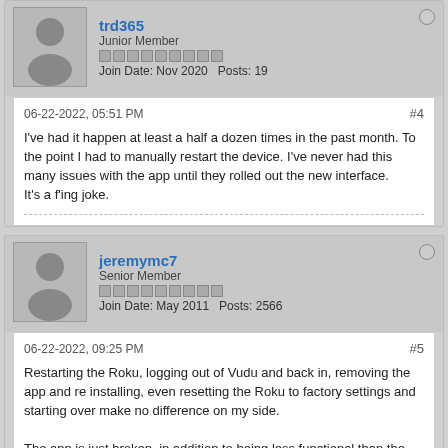trd365
Junior Member
Join Date: Nov 2020   Posts: 19
06-22-2022, 05:51 PM
#4
I've had it happen at least a half a dozen times in the past month. To the point I had to manually restart the device. I've never had this many issues with the app until they rolled out the new interface.
It's a f'ing joke.
jeremymc7
Senior Member
Join Date: May 2011   Posts: 2566
06-22-2022, 09:25 PM
#5
Restarting the Roku, logging out of Vudu and back in, removing the app and re installing, even resetting the Roku to factory settings and starting over make no difference on my side.

The app is just broken, in addition to being less functional than the